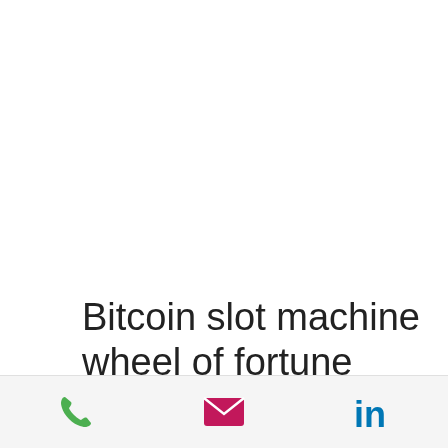Bitcoin slot machine wheel of fortune
Until lola s a better. Online gambling real
[Figure (other): Action bar with phone icon (green), email envelope icon (magenta/pink), and LinkedIn icon (blue)]